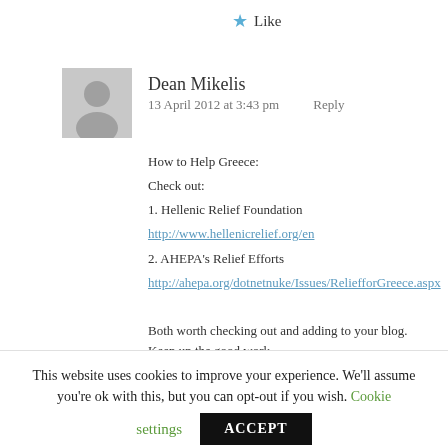jeff and kula
★ Like
Dean Mikelis
13 April 2012 at 3:43 pm   Reply
How to Help Greece:
Check out:
1. Hellenic Relief Foundation
http://www.hellenicrelief.org/en
2. AHEPA's Relief Efforts
http://ahepa.org/dotnetnuke/Issues/ReliefforGreece.aspx

Both worth checking out and adding to your blog. Keep up the good work
This website uses cookies to improve your experience. We'll assume you're ok with this, but you can opt-out if you wish. Cookie settings ACCEPT